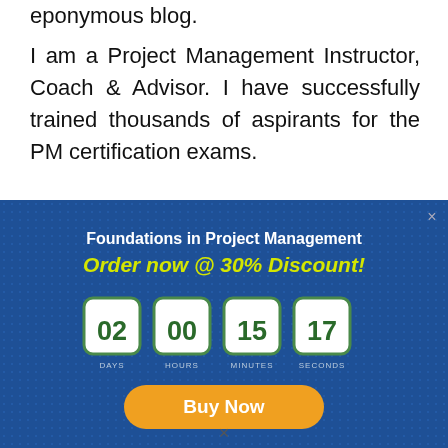eponymous blog.
I am a Project Management Instructor, Coach & Advisor. I have successfully trained thousands of aspirants for the PM certification exams.
[Figure (infographic): Promotional popup banner with dark blue dotted background. Title: 'Foundations in Project Management'. Subtitle: 'Order now @ 30% Discount!' in yellow-green italic bold. Countdown timer showing 02 DAYS, 00 HOURS, 15 MINUTES, 17 SECONDS in white rounded boxes with green numbers. Orange 'Buy Now' button at the bottom. Close X button at top right.]